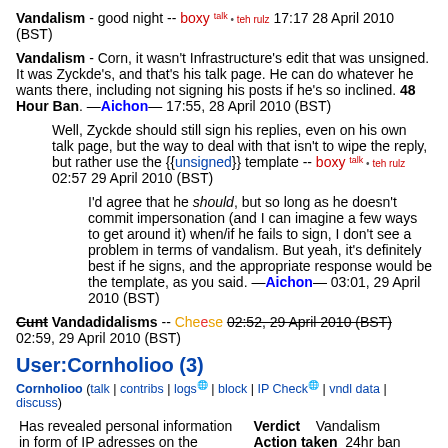Vandalism - good night -- boxy talk • teh rulz 17:17 28 April 2010 (BST)
Vandalism - Corn, it wasn't Infrastructure's edit that was unsigned. It was Zyckde's, and that's his talk page. He can do whatever he wants there, including not signing his posts if he's so inclined. 48 Hour Ban. —Aichon— 17:55, 28 April 2010 (BST)
Well, Zyckde should still sign his replies, even on his own talk page, but the way to deal with that isn't to wipe the reply, but rather use the {{unsigned}} template -- boxy talk • teh rulz 02:57 29 April 2010 (BST)
I'd agree that he should, but so long as he doesn't commit impersonation (and I can imagine a few ways to get around it) when/if he fails to sign, I don't see a problem in terms of vandalism. But yeah, it's definitely best if he signs, and the appropriate response would be the template, as you said. —Aichon— 03:01, 29 April 2010 (BST)
Cunt Vandadidalisms -- Cheese 02:52, 29 April 2010 (BST) 02:59, 29 April 2010 (BST)
User:Cornholioo (3)
Cornholioo (talk | contribs | logs | block | IP Check | vndl data | discuss)
Has revealed personal information in form of IP adresses on the National Socialist Union
Verdict   Vandalism
Action taken  24hr ban